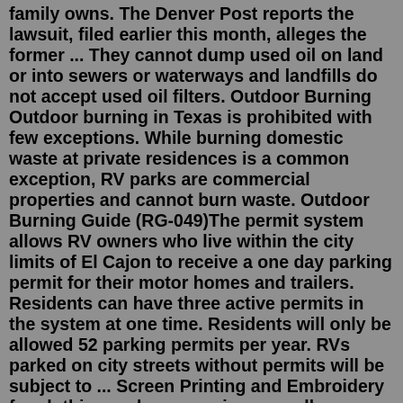family owns. The Denver Post reports the lawsuit, filed earlier this month, alleges the former ... They cannot dump used oil on land or into sewers or waterways and landfills do not accept used oil filters. Outdoor Burning Outdoor burning in Texas is prohibited with few exceptions. While burning domestic waste at private residences is a common exception, RV parks are commercial properties and cannot burn waste. Outdoor Burning Guide (RG-049)The permit system allows RV owners who live within the city limits of El Cajon to receive a one day parking permit for their motor homes and trailers. Residents can have three active permits in the system at one time. Residents will only be allowed 52 parking permits per year. RVs parked on city streets without permits will be subject to ... Screen Printing and Embroidery for clothing and accessories, as well as Technical Screenprinting, Overlays, and Labels for industrial and commercial applications In most jurisdictions, the RV is not allowed to extend past the end of your driveway and over the sidewalk. The